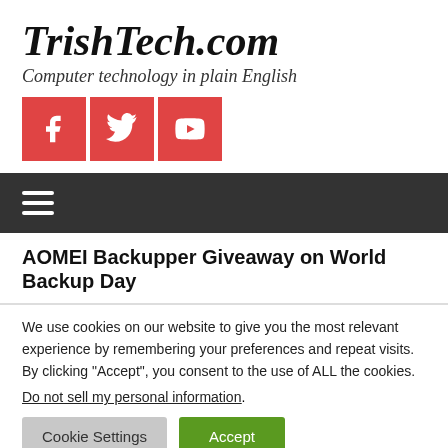TrishTech.com
Computer technology in plain English
[Figure (illustration): Three red social media icon buttons: Facebook, Twitter, YouTube]
[Figure (illustration): Dark grey navigation bar with hamburger menu icon (three horizontal lines)]
AOMEI Backupper Giveaway on World Backup Day
We use cookies on our website to give you the most relevant experience by remembering your preferences and repeat visits. By clicking “Accept”, you consent to the use of ALL the cookies.
Do not sell my personal information.
Cookie Settings
Accept